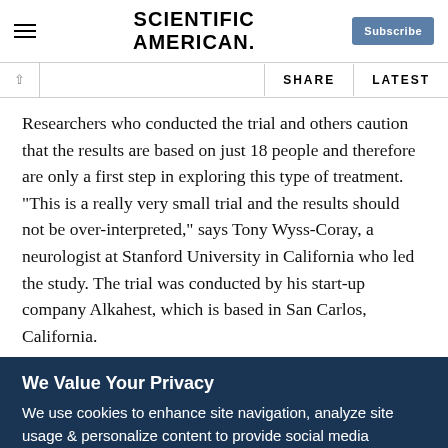SCIENTIFIC AMERICAN
Researchers who conducted the trial and others caution that the results are based on just 18 people and therefore are only a first step in exploring this type of treatment. “This is a really very small trial and the results should not be over-interpreted,” says Tony Wyss-Coray, a neurologist at Stanford University in California who led the study. The trial was conducted by his start-up company Alkahest, which is based in San Carlos, California.
We Value Your Privacy
We use cookies to enhance site navigation, analyze site usage & personalize content to provide social media features and to improve our marketing efforts. We also share information about your use of our site with our social media, advertising and analytics partners. To opt out of website cookies or otherwise manage your cookie settings, click on Cookie Settings. View O...